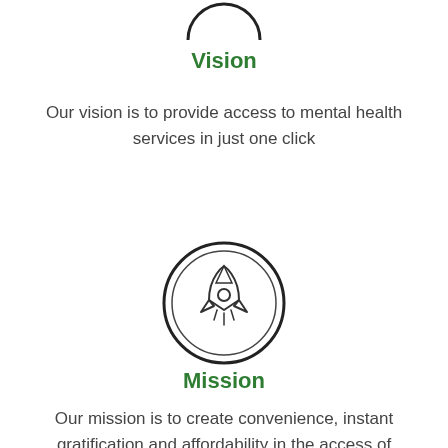[Figure (illustration): Partial circle icon (top portion of an eye/vision icon), dark outline on white background, cropped at top of page]
Vision
Our vision is to provide access to mental health services in just one click
[Figure (illustration): Circle icon containing a rocket ship illustration in outline style, dark border]
Mission
Our mission is to create convenience, instant gratification and affordability in the access of